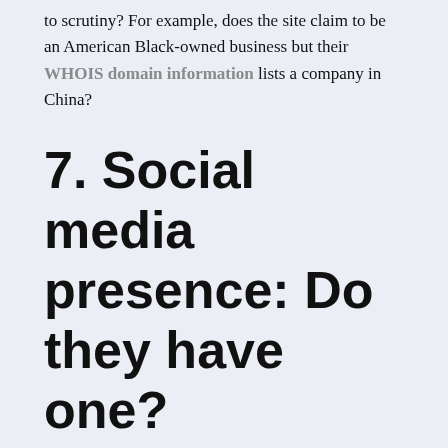to scrutiny? For example, does the site claim to be an American Black-owned business but their WHOIS domain information lists a company in China?
7. Social media presence: Do they have one?
Similarly, do they have a social media presence outside of the ad that pops up in your newsfeed? If not, steer clear. If so, you can click on the poster's name to see where the person or business is located and when the page was started. You can also see how far back their posts go, as well as check the quality of those posts and